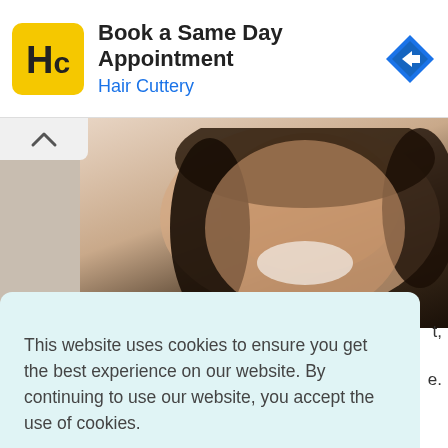[Figure (screenshot): Advertisement banner for Hair Cuttery: logo (HC in yellow square), headline 'Book a Same Day Appointment', subtext 'Hair Cuttery' in blue, blue diamond navigation arrow icon on right. Below the ad, a close/mute icon and X icon appear on the left. Background shows a smiling woman's photo, partially obscured by a cookie consent dialog.]
This website uses cookies to ensure you get the best experience on our website. By continuing to use our website, you accept the use of cookies.
Learn more
Got it!